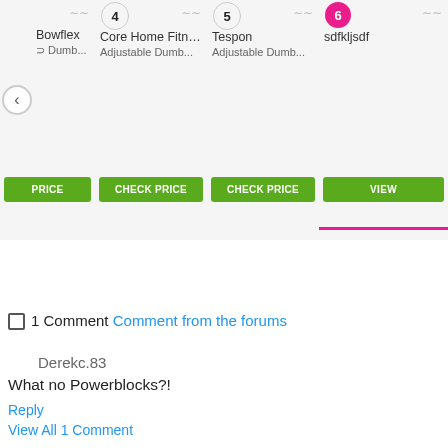[Figure (screenshot): Product comparison carousel showing 4 product cards: Bowflex Dumb..., Core Home Fitne... Adjustable Dumb..., Tespon Adjustable Dumb..., sdfkljsdf. Cards numbered 4, 5, 6 with CHECK PRICE and VIEW buttons. Navigation left arrow visible.]
1 Comment Comment from the forums
Derekc.83
What no Powerblocks?!
Reply
View All 1 Comment